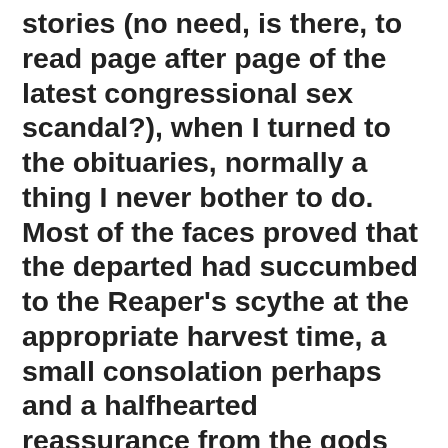stories (no need, is there, to read page after page of the latest congressional sex scandal?), when I turned to the obituaries, normally a thing I never bother to do.  Most of the faces proved that the departed had succumbed to the Reaper's scythe at the appropriate harvest time, a small consolation perhaps and a halfhearted reassurance from the gods that the odds were still in my favor, but among the grainy photos of this fresh octogenarian crop was a photo of a 25-year old boy wearing a doomed smile.  With morbid fascination I read the notice and discovered that I had a lot in